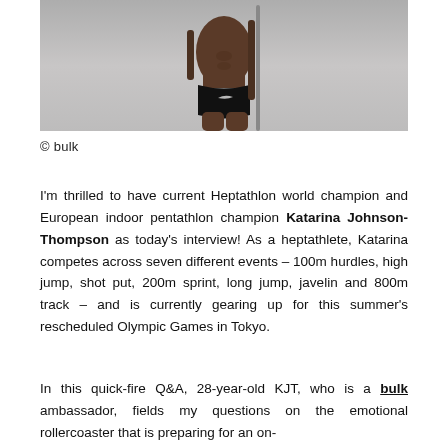[Figure (photo): Photo of a female athlete (Katarina Johnson-Thompson) in a black Nike sports bikini, cropped to show torso and lower body, holding what appears to be a pole or javelin. Gray/white studio background.]
© bulk
I'm thrilled to have current Heptathlon world champion and European indoor pentathlon champion Katarina Johnson-Thompson as today's interview! As a heptathlete, Katarina competes across seven different events – 100m hurdles, high jump, shot put, 200m sprint, long jump, javelin and 800m track – and is currently gearing up for this summer's rescheduled Olympic Games in Tokyo.
In this quick-fire Q&A, 28-year-old KJT, who is a bulk ambassador, fields my questions on the emotional rollercoaster that is preparing for an on-